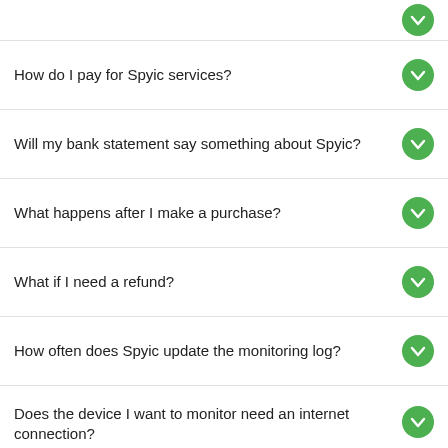How do I pay for Spyic services?
Will my bank statement say something about Spyic?
What happens after I make a purchase?
What if I need a refund?
How often does Spyic update the monitoring log?
Does the device I want to monitor need an internet connection?
How many devices can I monitor?